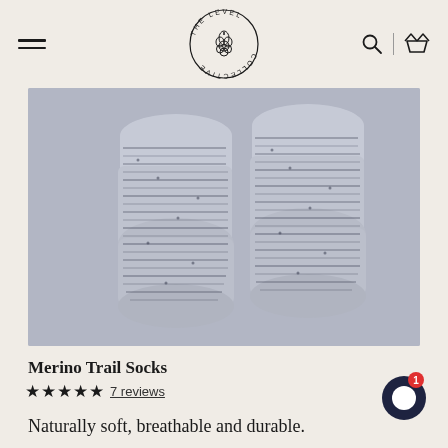[Figure (logo): The Level Collective circular logo with pine cone in center and text around the ring]
[Figure (photo): Two marled navy and white knitted ankle socks laid flat on a light gray background]
Merino Trail Socks
★★★★★ 7 reviews
Naturally soft, breathable and durable.